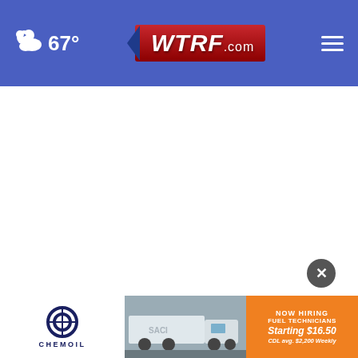67° WTRF.com
[Figure (screenshot): White empty main content area of a news website]
[Figure (infographic): Chemoil NOW HIRING FUEL TECHNICIANS Starting $16.50 CDL avg. $2,200 Weekly advertisement banner with truck image]